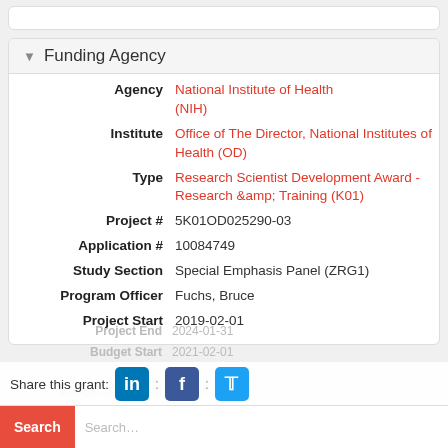Funding Agency
| Field | Value |
| --- | --- |
| Agency | National Institute of Health (NIH) |
| Institute | Office of The Director, National Institutes of Health (OD) |
| Type | Research Scientist Development Award - Research & Training (K01) |
| Project # | 5K01OD025290-03 |
| Application # | 10084749 |
| Study Section | Special Emphasis Panel (ZRG1) |
| Program Officer | Fuchs, Bruce |
| Project Start | 2019-02-01 |
| Project End | 2024-01-31 |
| Budget Start | 2021-02-01 |
| Budget Grant End | 2022-01-31 |
Share this grant:
Search